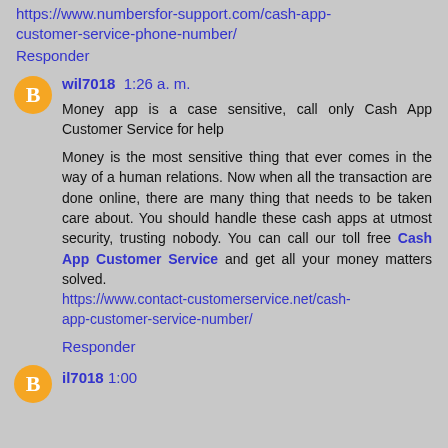https://www.numbersfor-support.com/cash-app-customer-service-phone-number/
Responder
wil7018  1:26 a. m.
Money app is a case sensitive, call only Cash App Customer Service for help
Money is the most sensitive thing that ever comes in the way of a human relations. Now when all the transaction are done online, there are many thing that needs to be taken care about. You should handle these cash apps at utmost security, trusting nobody. You can call our toll free Cash App Customer Service and get all your money matters solved. https://www.contact-customerservice.net/cash-app-customer-service-number/
Responder